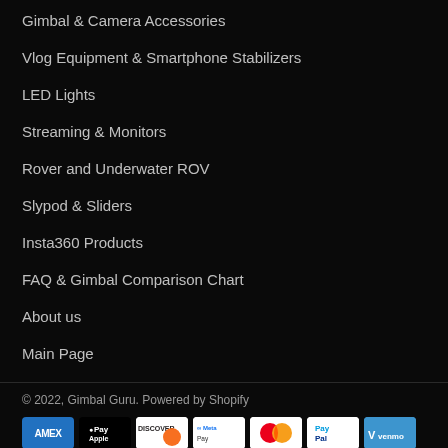Gimbal & Camera Accessories
Vlog Equipment & Smartphone Stabilizers
LED Lights
Streaming & Monitors
Rover and Underwater ROV
Slypod & Sliders
Insta360 Products
FAQ & Gimbal Comparison Chart
About us
Main Page
© 2022, Gimbal Guru. Powered by Shopify
[Figure (other): Payment method icons: AMEX, Apple Pay, Discover, Meta Pay, Mastercard, PayPal, Venmo, Visa]